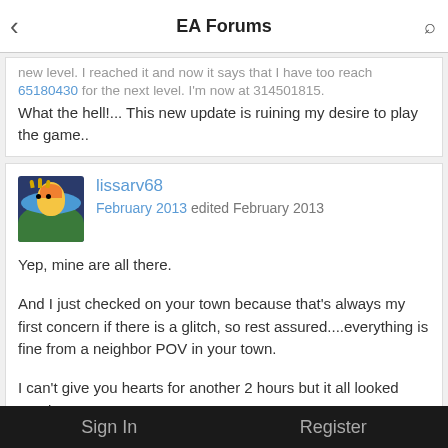EA Forums
new level. I reached it and now it says that I have too reach 65180430 for the next level. I'm now at 314501815. What the hell!... This new update is ruining my desire to play the game..
lissarv68
February 2013 edited February 2013

Yep, mine are all there.

And I just checked on your town because that's always my first concern if there is a glitch, so rest assured....everything is fine from a neighbor POV in your town.

I can't give you hearts for another 2 hours but it all looked good.
hichem17
February 2013 edited February 2013
Sign In    Register